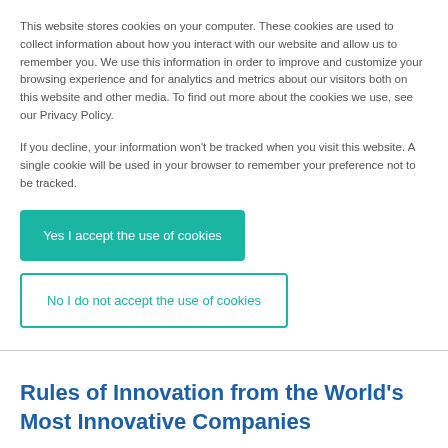This website stores cookies on your computer. These cookies are used to collect information about how you interact with our website and allow us to remember you. We use this information in order to improve and customize your browsing experience and for analytics and metrics about our visitors both on this website and other media. To find out more about the cookies we use, see our Privacy Policy.
If you decline, your information won't be tracked when you visit this website. A single cookie will be used in your browser to remember your preference not to be tracked.
Yes I accept the use of cookies
No I do not accept the use of cookies
Rules of Innovation from the World's Most Innovative Companies